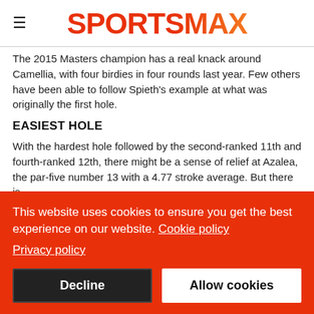SPORTSMAX
The 2015 Masters champion has a real knack around Camellia, with four birdies in four rounds last year. Few others have been able to follow Spieth's example at what was originally the first hole.
EASIEST HOLE
With the hardest hole followed by the second-ranked 11th and fourth-ranked 12th, there might be a sense of relief at Azalea, the par-five number 13 with a 4.77 stroke average. But there is
This website uses cookies to ensure you get the best experience on our website. Cookie policy
Privacy policy
Decline
Allow cookies